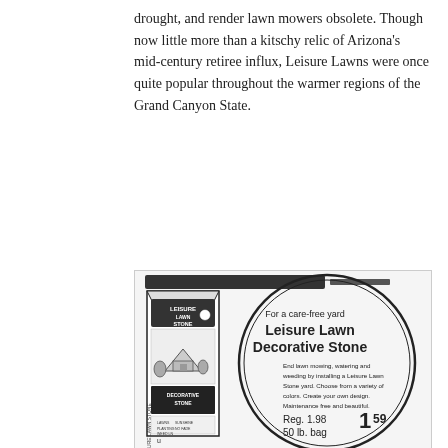drought, and render lawn mowers obsolete. Though now little more than a kitschy relic of Arizona's mid-century retiree influx, Leisure Lawns were once quite popular throughout the warmer regions of the Grand Canyon State.
[Figure (illustration): Vintage newspaper advertisement for Leisure Lawn Decorative Stone. Shows a bag of Leisure Lawn Stone product on the left, and a large circle on the right with text reading: 'For a care-free yard Leisure Lawn Decorative Stone. End lawn mowing, watering and weeding by installing a Leisure Lawn Stone yard. Choose from a variety of colors. Create your own design. Maintenance free and beautiful. Reg. 1.98  50 lb. bag  1 59']